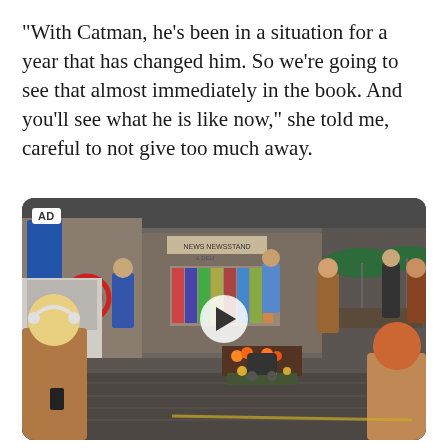"With Catman, he's been in a situation for a year that has changed him. So we're going to see that almost immediately in the book. And you'll see what he is like now," she told me, careful to not give too much away.
[Figure (screenshot): A video advertisement thumbnail showing a busy city street scene on a rainy day. People walking past a newsstand and shops. A woman with blonde hair and headphones is in the foreground. A white play button is overlaid in the center. An 'AD' label appears in the upper left corner.]